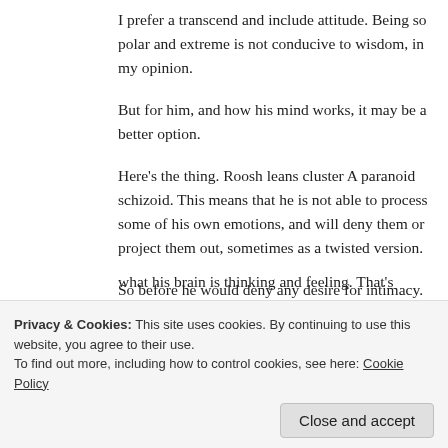I prefer a transcend and include attitude. Being so polar and extreme is not conducive to wisdom, in my opinion.
But for him, and how his mind works, it may be a better option.
Here’s the thing. Roosh leans cluster A paranoid schizoid. This means that he is not able to process some of his own emotions, and will deny them or project them out, sometimes as a twisted version.
So before he would deny any desire for intimacy. The...
what his brain is thinking and feeling. That’s biological
Privacy & Cookies: This site uses cookies. By continuing to use this website, you agree to their use.
To find out more, including how to control cookies, see here: Cookie Policy
Close and accept